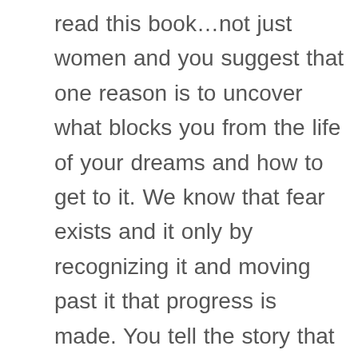read this book…not just women and you suggest that one reason is to uncover what blocks you from the life of your dreams and how to get to it. We know that fear exists and it only by recognizing it and moving past it that progress is made. You tell the story that in 1932 the height of the Great Depression, President Franklin Roosevelt knew he needed to calm a worried nation. After three years of economic hardship many Americans had lost their jobs. Many more had lost their homes And most people had lost hope that life could ever